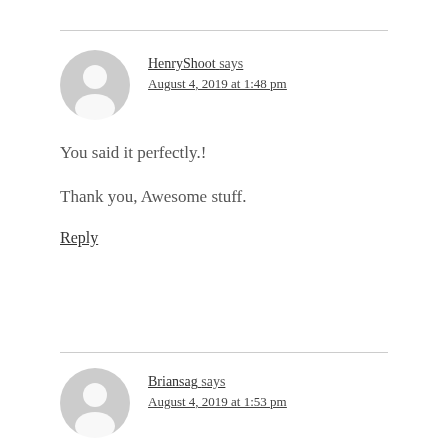HenryShoot says
August 4, 2019 at 1:48 pm
You said it perfectly.!
Thank you, Awesome stuff.
Reply
Briansag says
August 4, 2019 at 1:53 pm